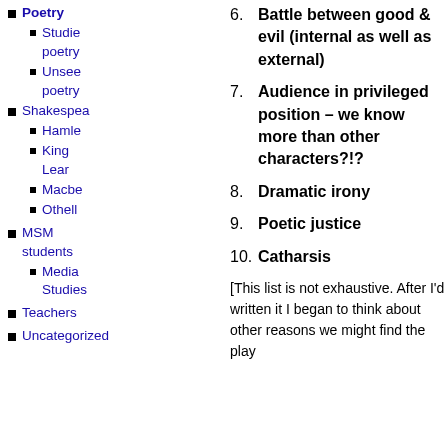Poetry
Studies poetry
Unseen poetry
Shakespea
Hamle
King Lear
Macbe
Othell
MSM students
Media Studies
Teachers
Uncategorized
6. Battle between good & evil (internal as well as external)
7. Audience in privileged position – we know more than other characters?!?
8. Dramatic irony
9. Poetic justice
10. Catharsis
[This list is not exhaustive. After I'd written it I began to think about other reasons we might find the play